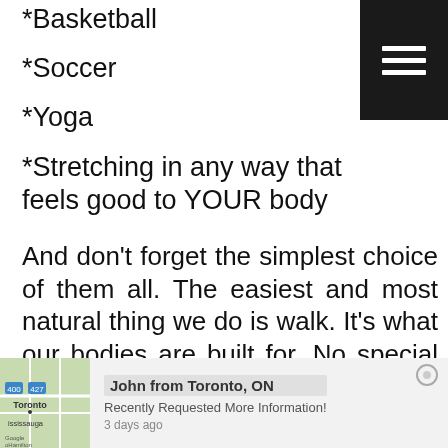*Basketball
*Soccer
*Yoga
*Stretching in any way that feels good to YOUR body
And don't forget the simplest choice of them all. The easiest and most natural thing we do is walk. It's what our bodies are built for. No special equipment needed other than a decent pair of shoes.
John from Toronto, ON
Recently Requested More Information!
3 days ago